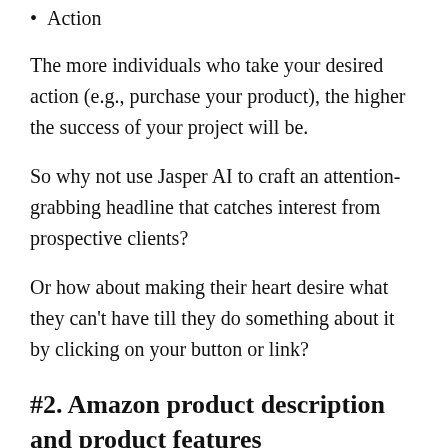Action
The more individuals who take your desired action (e.g., purchase your product), the higher the success of your project will be.
So why not use Jasper AI to craft an attention-grabbing headline that catches interest from prospective clients?
Or how about making their heart desire what they can't have till they do something about it by clicking on your button or link?
#2. Amazon product description and product features